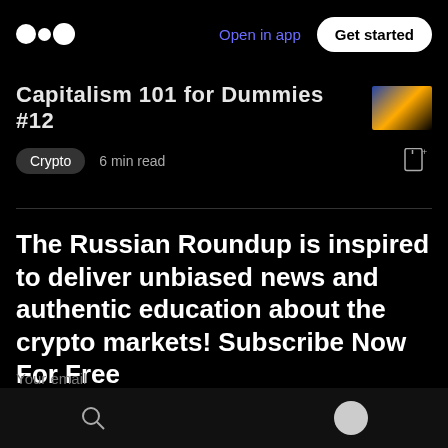Open in app | Get started
Capitalism 101 for Dummies #12
Crypto  6 min read
The Russian Roundup is inspired to deliver unbiased news and authentic education about the crypto markets! Subscribe Now For Free
The Russian Roundup
Your email